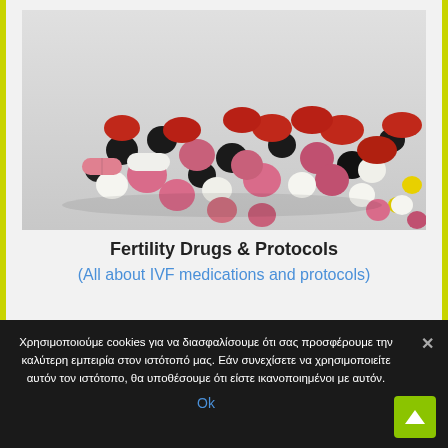[Figure (photo): A collection of assorted colorful pharmaceutical pills and tablets (black, white, pink, red, yellow) scattered on a light grey/white surface.]
Fertility Drugs & Protocols
(All about IVF medications and protocols)
Χρησιμοποιούμε cookies για να διασφαλίσουμε ότι σας προσφέρουμε την καλύτερη εμπειρία στον ιστότοπό μας. Εάν συνεχίσετε να χρησιμοποιείτε αυτόν τον ιστότοπο, θα υποθέσουμε ότι είστε ικανοποιημένοι με αυτόν.
Ok